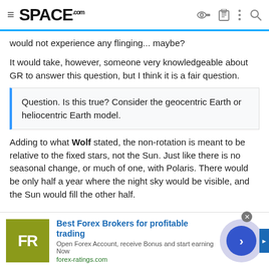SPACE.com
would not experience any flinging... maybe?
It would take, however, someone very knowledgeable about GR to answer this question, but I think it is a fair question.
Question. Is this true? Consider the geocentric Earth or heliocentric Earth model.
Adding to what Wolf stated, the non-rotation is meant to be relative to the fixed stars, not the Sun. Just like there is no seasonal change, or much of one, with Polaris. There would be only half a year where the night sky would be visible, and the Sun would fill the other half.
[Figure (other): Advertisement banner: Best Forex Brokers for profitable trading. FR logo in olive/yellow-green square. forex-ratings.com]